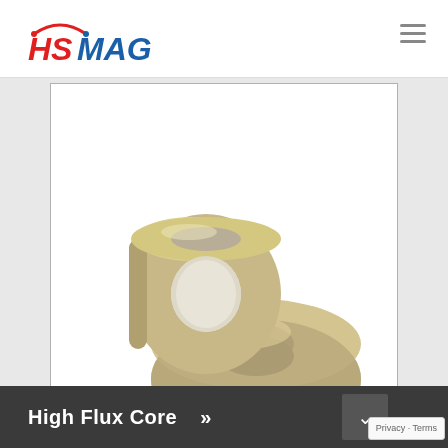[Figure (logo): HSMAG logo with red HS and blue MAG text with arc graphic]
[Figure (photo): Two toroidal high flux core rings (toroids) in beige/tan color, one upright showing the ring shape and one lying flat showing hollow interior, on white background]
High Flux Core >>